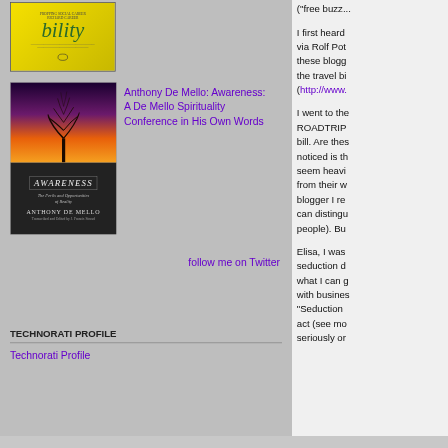[Figure (photo): Yellow book cover with stylized italic title 'bility' in green text]
[Figure (photo): Awareness book cover by Anthony De Mello with dramatic sunset sky and tree silhouette]
Anthony De Mello: Awareness: A De Mello Spirituality Conference in His Own Words
follow me on Twitter
TECHNORATI PROFILE
Technorati Profile
("free buzz...
I first heard via Rolf Pot these blogg the travel bi (http://www.
I went to the ROADTRIP bill. Are thes noticed is th seem heavi from their w blogger I re can distingu people). Bu
Elisa, I was seduction d what I can g with busines "Seduction act (see mo seriously or